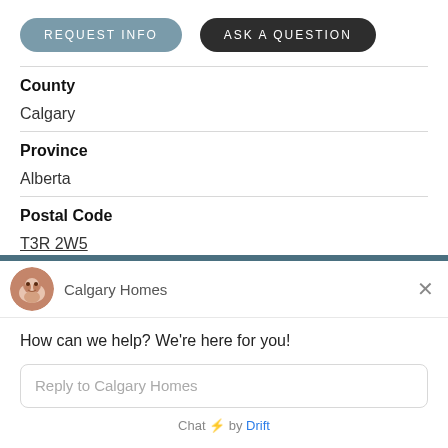[Figure (screenshot): Two buttons: REQUEST INFO (blue-grey rounded) and ASK A QUESTION (dark rounded)]
County
Calgary
Province
Alberta
Postal Code
T3R 2W5
[Figure (screenshot): Chat widget: Calgary Homes chat popup with avatar, close button, message 'How can we help? We're here for you!', reply input, and 'Chat by Drift' footer]